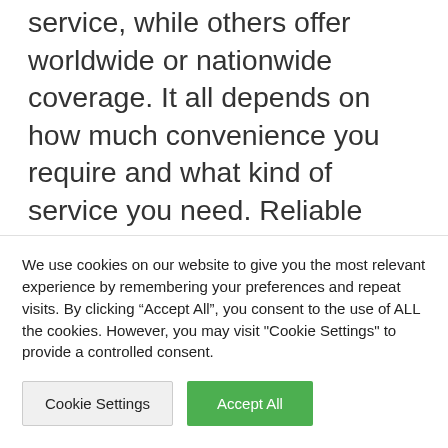service, while others offer worldwide or nationwide coverage. It all depends on how much convenience you require and what kind of service you need. Reliable luxury car service provides both door-to-door and worldwide services. This means that you can rest easy knowing that your vehicle is in safe hands. Whether you need a luxurious car for an evening out on the town, a corporate function, or a wedding, you can rely on the
We use cookies on our website to give you the most relevant experience by remembering your preferences and repeat visits. By clicking "Accept All", you consent to the use of ALL the cookies. However, you may visit "Cookie Settings" to provide a controlled consent.